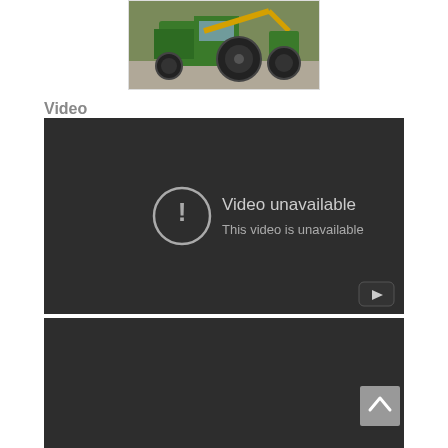[Figure (photo): Partial view of a green John Deere tractor or farm equipment photographed outdoors, cropped at top of page]
Video
[Figure (screenshot): Embedded YouTube video player showing 'Video unavailable - This video is unavailable' error message on dark background with YouTube play button icon in bottom right corner]
[Figure (screenshot): Bottom portion of another dark video player or embed, partially visible at bottom of page. A scroll-to-top button (chevron up arrow) is visible in the bottom right corner.]